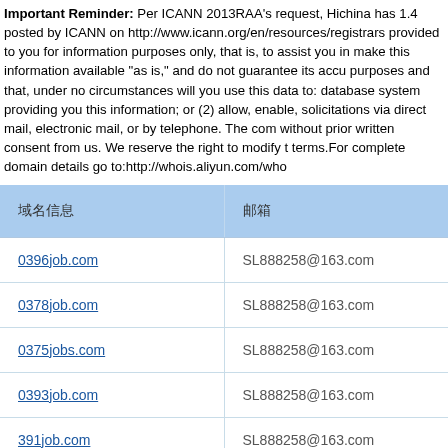Important Reminder: Per ICANN 2013RAA's request, Hichina has 1.4 posted by ICANN on http://www.icann.org/en/resources/registrars provided to you for information purposes only, that is, to assist you in make this information available "as is," and do not guarantee its accu purposes and that, under no circumstances will you use this data to: database system providing you this information; or (2) allow, enable, solicitations via direct mail, electronic mail, or by telephone. The com without prior written consent from us. We reserve the right to modify t terms.For complete domain details go to:http://whois.aliyun.com/who
| 域名信息 | 邮箱 |
| --- | --- |
| 0396job.com | SL888258@163.com |
| 0378job.com | SL888258@163.com |
| 0375jobs.com | SL888258@163.com |
| 0393job.com | SL888258@163.com |
| 391job.com | SL888258@163.com |
|  |  |